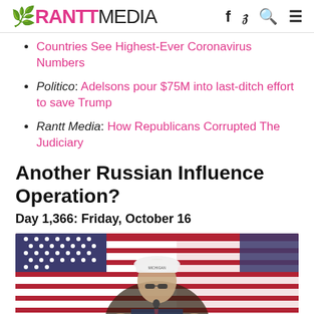RANTT MEDIA
Countries See Highest-Ever Coronavirus Numbers
Politico: Adelsons pour $75M into last-ditch effort to save Trump
Rantt Media: How Republicans Corrupted The Judiciary
Another Russian Influence Operation?
Day 1,366: Friday, October 16
[Figure (photo): Man in a white MICHIGAN cap speaking at a podium with American flags in the background]